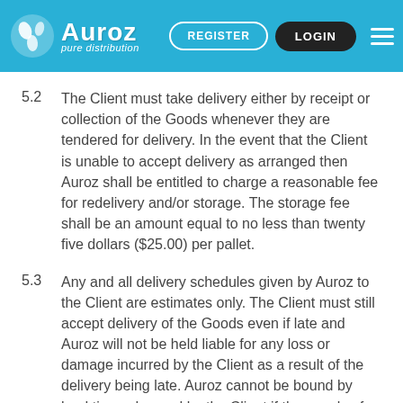[Figure (logo): Auroz pure distribution logo with navigation buttons: REGISTER and LOGIN]
5.2  The Client must take delivery either by receipt or collection of the Goods whenever they are tendered for delivery. In the event that the Client is unable to accept delivery as arranged then Auroz shall be entitled to charge a reasonable fee for redelivery and/or storage. The storage fee shall be an amount equal to no less than twenty five dollars ($25.00) per pallet.
5.3  Any and all delivery schedules given by Auroz to the Client are estimates only. The Client must still accept delivery of the Goods even if late and Auroz will not be held liable for any loss or damage incurred by the Client as a result of the delivery being late. Auroz cannot be bound by lead times decreed by the Client if the supply of selected